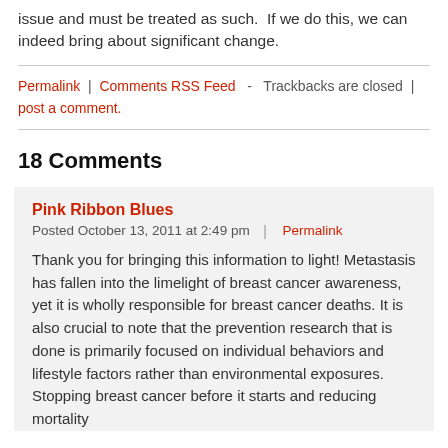issue and must be treated as such.  If we do this, we can indeed bring about significant change.
Permalink | Comments RSS Feed  -  Trackbacks are closed | post a comment.
18 Comments
Pink Ribbon Blues
Posted October 13, 2011 at 2:49 pm  |  Permalink
Thank you for bringing this information to light! Metastasis has fallen into the limelight of breast cancer awareness, yet it is wholly responsible for breast cancer deaths. It is also crucial to note that the prevention research that is done is primarily focused on individual behaviors and lifestyle factors rather than environmental exposures. Stopping breast cancer before it starts and reducing mortality